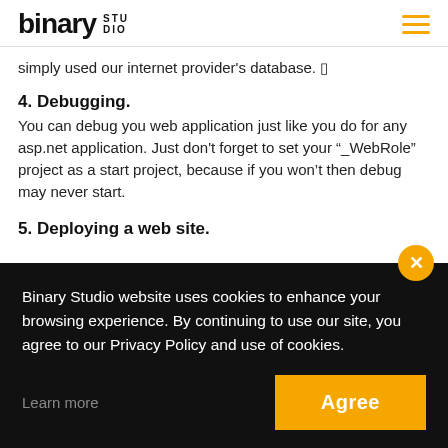binary STUDIO
simply used our internet provider's database. █
4. Debugging.
You can debug you web application just like you do for any asp.net application. Just don't forget to set your “_WebRole” project as a start project, because if you won’t then debug may never start.
5. Deploying a web site.
Binary Studio website uses cookies to enhance your browsing experience. By continuing to use our site, you agree to our Privacy Policy and use of cookies.
Learn more
Agree